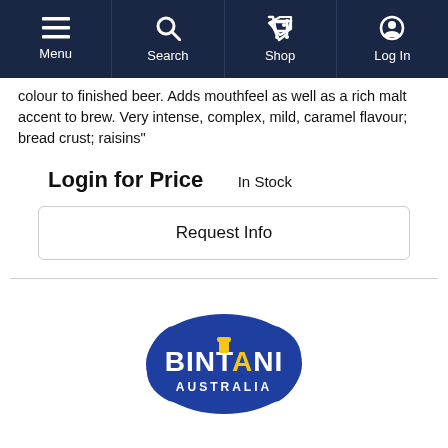Menu | Search | Shop | Log In
colour to finished beer. Adds mouthfeel as well as a rich malt accent to brew. Very intense, complex, mild, caramel flavour; bread crust; raisins"
Login for Price
In Stock
Request Info
[Figure (logo): Bintani Australia logo — dark blue rounded rectangle shape with white bold text BINTANI and smaller text AUSTRALIA below, with a small yellow icon in the letter T]